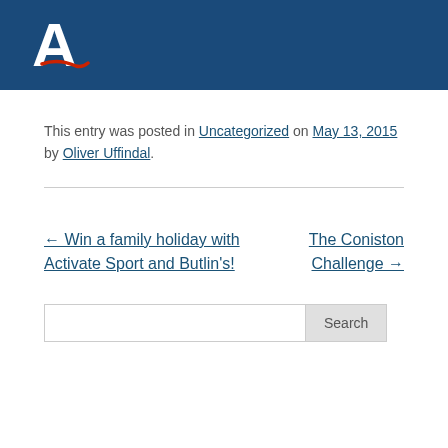[Figure (logo): White letter A with red swoosh/underline on dark blue background header bar]
This entry was posted in Uncategorized on May 13, 2015 by Oliver Uffindal.
← Win a family holiday with Activate Sport and Butlin's!
The Coniston Challenge →